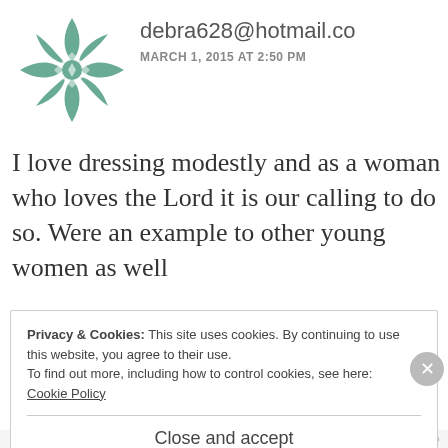[Figure (illustration): Green geometric/floral avatar icon made of overlapping diamond shapes arranged in a circle]
debra628@hotmail.co
MARCH 1, 2015 AT 2:50 PM
I love dressing modestly and as a woman who loves the Lord it is our calling to do so. Were an example to other young women as well
★ Like
Privacy & Cookies: This site uses cookies. By continuing to use this website, you agree to their use.
To find out more, including how to control cookies, see here:
Cookie Policy
Close and accept